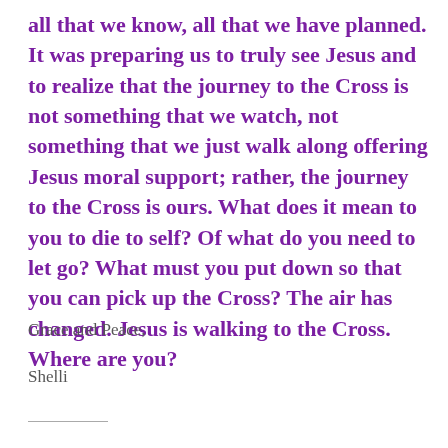all that we know, all that we have planned. It was preparing us to truly see Jesus and to realize that the journey to the Cross is not something that we watch, not something that we just walk along offering Jesus moral support; rather, the journey to the Cross is ours.  What does it mean to you to die to self?  Of what do you need to let go?  What must you put down so that you can pick up the Cross?  The air has changed.  Jesus is walking to the Cross.  Where are you?
Grace and Peace,
Shelli